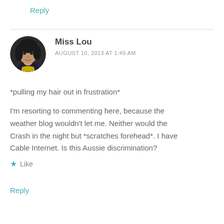Reply
[Figure (photo): Circular avatar photo of Miss Lou, a woman with dark hair]
Miss Lou
AUGUST 10, 2013 AT 1:49 AM
*pulling my hair out in frustration*
I'm resorting to commenting here, because the weather blog wouldn't let me. Neither would the Crash in the night but *scratches forehead*. I have Cable Internet. Is this Aussie discrimination?
★ Like
Reply